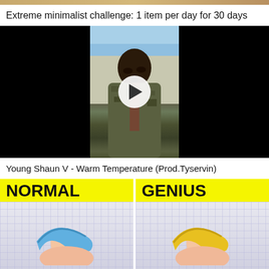[Figure (screenshot): Top decorative image strip]
Extreme minimalist challenge: 1 item per day for 30 days
[Figure (screenshot): Video thumbnail showing a man in camouflage jacket outdoors with play button overlay. Video titled: Young Shaun V - Warm Temperature (Prod.Tyservin)]
Young Shaun V - Warm Temperature (Prod.Tyservin)
[Figure (screenshot): Split thumbnail image showing NORMAL (left, yellow background with blue eraser/clay) and GENIUS (right, yellow background with gold/yellow eraser/clay) labels above hands holding bent items on grid paper background]